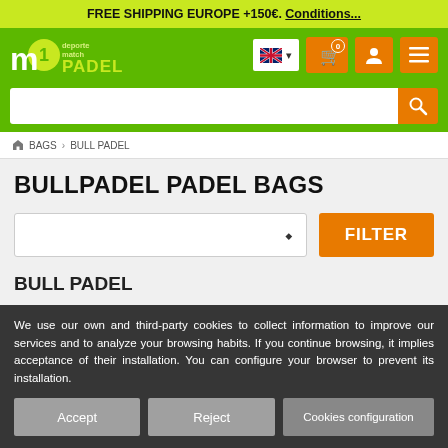FREE SHIPPING EUROPE +150€. Conditions...
[Figure (screenshot): M1 Padel logo with green circle and PADEL text]
[Figure (screenshot): UK flag language selector with dropdown arrow]
[Figure (screenshot): Shopping cart icon with badge showing 0]
[Figure (screenshot): User account icon button]
[Figure (screenshot): Hamburger menu icon button]
[Figure (screenshot): Search bar with magnifying glass button]
BAGS > BULL PADEL
BULLPADEL PADEL BAGS
FILTER
BULL PADEL
We use our own and third-party cookies to collect information to improve our services and to analyze your browsing habits. If you continue browsing, it implies acceptance of their installation. You can configure your browser to prevent its installation.
Accept | Reject | Cookies configuration